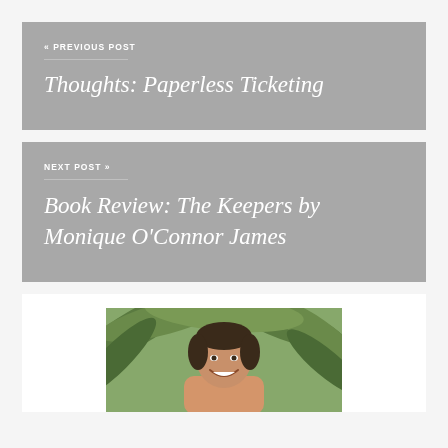« PREVIOUS POST
Thoughts: Paperless Ticketing
NEXT POST »
Book Review: The Keepers by Monique O'Connor James
[Figure (photo): A smiling person with dark hair in front of palm tree foliage]